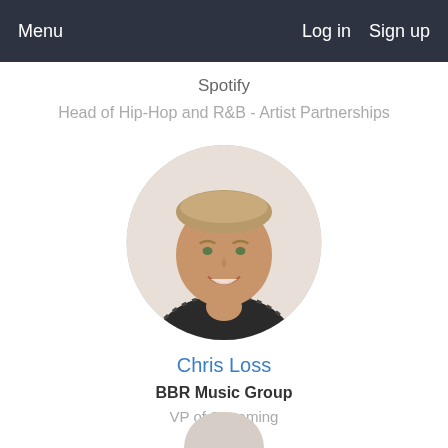Menu    Log in   Sign up
Spotify
Head of Hip-Hop and R&B - Artist Partnerships
[Figure (photo): Circular profile photo of Chris Loss, a smiling man with short blonde hair wearing a dark striped shirt, against a light background.]
Chris Loss
BBR Music Group
VP of Streaming